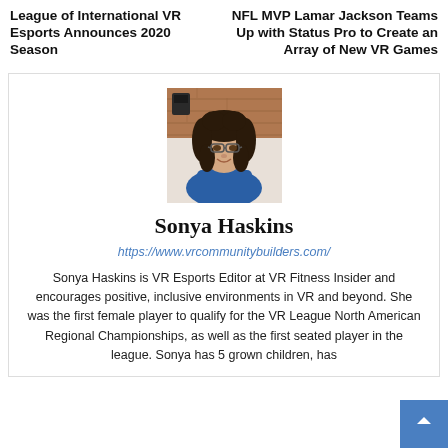League of International VR Esports Announces 2020 Season
NFL MVP Lamar Jackson Teams Up with Status Pro to Create an Array of New VR Games
[Figure (photo): Headshot photo of Sonya Haskins, a woman with curly dark hair and glasses, wearing a blue shirt, smiling at the camera]
Sonya Haskins
https://www.vrcommunitybuilders.com/
Sonya Haskins is VR Esports Editor at VR Fitness Insider and encourages positive, inclusive environments in VR and beyond. She was the first female player to qualify for the VR League North American Regional Championships, as well as the first seated player in the league. Sonya has 5 grown children, has